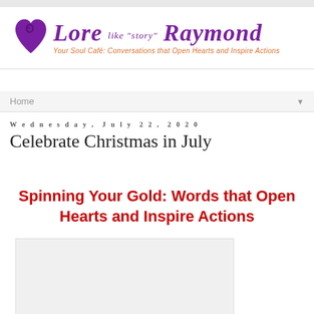[Figure (logo): Lore like 'story' Raymond blog logo with purple heart/spiral graphic and tagline: Your Soul Café: Conversations that Open Hearts and Inspire Actions]
Home
Wednesday, July 22, 2020
Celebrate Christmas in July
Spinning Your Gold: Words that Open Hearts and Inspire Actions
[Figure (photo): Partially visible image at the bottom of the page]